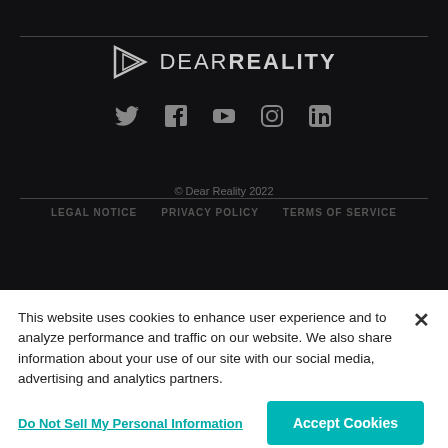[Figure (logo): Dear Reality logo with triangular play-button icon and text DEAR REALITY in white/gray on dark background]
[Figure (infographic): Social media icons: Twitter, Facebook, YouTube, Instagram, LinkedIn in gray on dark background]
© Dear Reality 2022
LEGAL NOTICE   PRIVACY POLICY   TERMS OF SERVICE
This website uses cookies to enhance user experience and to analyze performance and traffic on our website. We also share information about your use of our site with our social media, advertising and analytics partners.
Do Not Sell My Personal Information
Accept Cookies